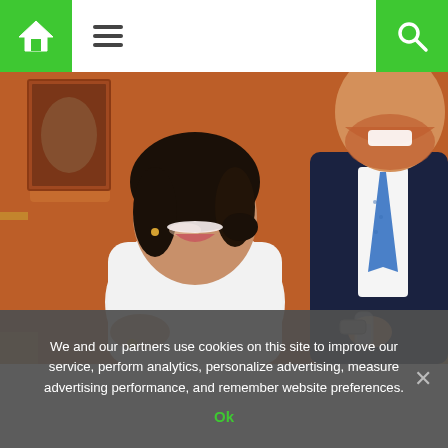Navigation bar with home, menu, and search icons
[Figure (photo): A woman in a white coat and a man in a dark navy suit with a blue tie, smiling, at an indoor event with orange/red ornate walls and paintings in the background. The woman is in the foreground looking to the side, smiling broadly. The man is slightly behind her holding a glass.]
We and our partners use cookies on this site to improve our service, perform analytics, personalize advertising, measure advertising performance, and remember website preferences.
Ok